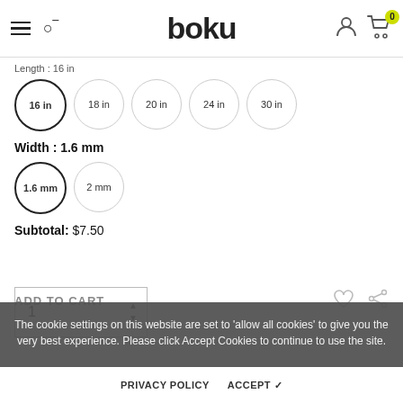[Figure (screenshot): E-commerce website header with hamburger menu, search icon, 'boku' logo, user icon, and cart icon with badge showing 0]
Length : 16 in
16 in (selected), 18 in, 20 in, 24 in, 30 in
Width : 1.6 mm
1.6 mm (selected), 2 mm
Subtotal:  $7.50
Quantity: 1
The cookie settings on this website are set to 'allow all cookies' to give you the very best experience. Please click Accept Cookies to continue to use the site.
ADD TO CART
PRIVACY POLICY   ACCEPT ✓